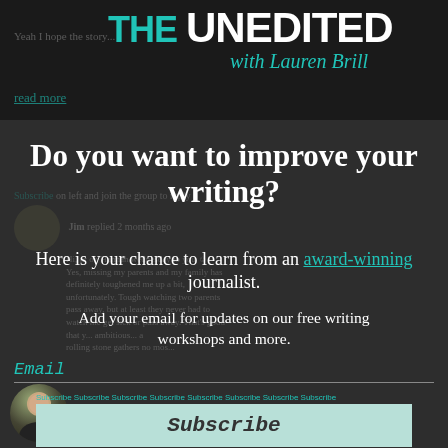The Unedited with Lauren Brill
Yeah I hope the story...
read more
Do you want to improve your writing?
Here is your chance to learn from an award-winning journalist.
Add your email for updates on our free writing workshops and more.
Email
Subscribe